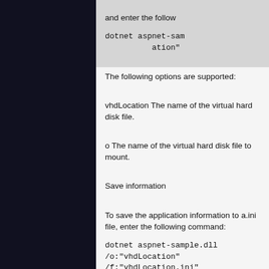and enter the following command:
dotnet aspnet-sample... /o:"vhdLocation"
The following options are supported:
vhdLocation The name of the virtual hard disk file.
o The name of the virtual hard disk file to mount.
Save information
To save the application information to a.ini file, enter the following command:
dotnet aspnet-sample.dll /o:"vhdLocation" /f:"vhdLocation.ini"
To save the application information to a.json file, enter the following command:
dotnet aspnet-sample.dll /o:"vhdLocation" /f:"vhdLocation.json"
To save the application information to a.xml file, enter the following command:
dotnet aspnet-sample.dll /o:"vhdLocation" /f:"vhdLocation.xml"
To save the application information to